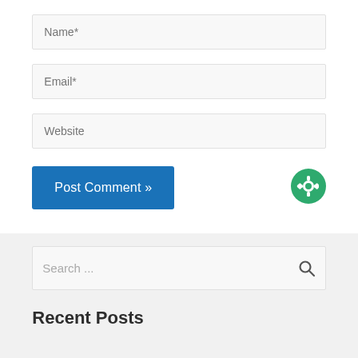Name*
Email*
Website
Post Comment »
Search ...
Recent Posts